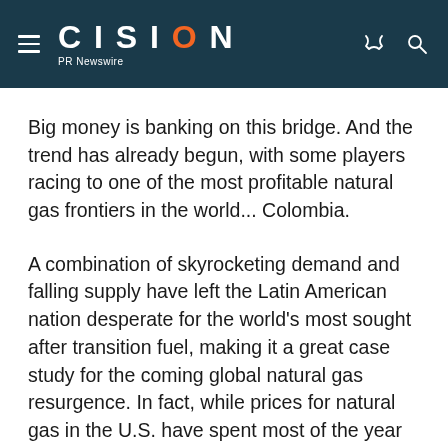CISION PR Newswire
Big money is banking on this bridge. And the trend has already begun, with some players racing to one of the most profitable natural gas frontiers in the world... Colombia.
A combination of skyrocketing demand and falling supply have left the Latin American nation desperate for the world's most sought after transition fuel, making it a great case study for the coming global natural gas resurgence. In fact, while prices for natural gas in the U.S. have spent most of the year below per thousand cubic feet, prices in Colombia have